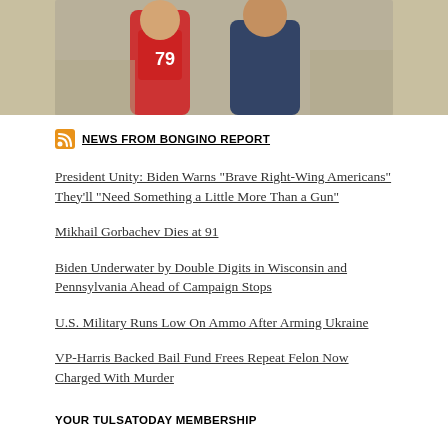[Figure (photo): Cropped photo of two people, one wearing a jersey with number 79, background appears to be a sports or outdoor event setting]
NEWS FROM BONGINO REPORT
President Unity: Biden Warns "Brave Right-Wing Americans" They'll "Need Something a Little More Than a Gun"
Mikhail Gorbachev Dies at 91
Biden Underwater by Double Digits in Wisconsin and Pennsylvania Ahead of Campaign Stops
U.S. Military Runs Low On Ammo After Arming Ukraine
VP-Harris Backed Bail Fund Frees Repeat Felon Now Charged With Murder
YOUR TULSATODAY MEMBERSHIP